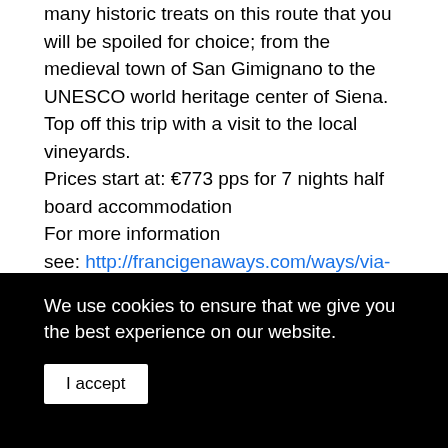many historic treats on this route that you will be spoiled for choice; from the medieval town of San Gimignano to the UNESCO world heritage center of Siena. Top off this trip with a visit to the local vineyards.
Prices start at: €773 pps for 7 nights half board accommodation
For more information
see: http://francigenaways.com/ways/via-francigena/via-francigena-section-14/
We use cookies to ensure that we give you the best experience on our website.